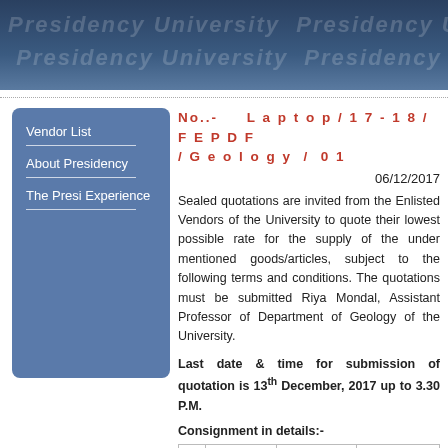[Figure (photo): University building header image with Presidency University watermark text in dark blue background]
No..-   Laptop/17-18/FEPDF/Geology / 01
Vendor List
About Presidency
The Presi Experience
06/12/2017
Sealed quotations are invited from the Enlisted Vendors of the University to quote their lowest possible rate for the supply of the under mentioned goods/articles, subject to the following terms and conditions. The quotations must be submitted Riya Mondal, Assistant Professor of Department of Geology of the University.
Last date & time for submission of quotation is 13th December, 2017 up to 3.30 P.M.
Consignment in details:-
| Sl No | Particulars | Brand/Make | Approximate Quantity |
| --- | --- | --- | --- |